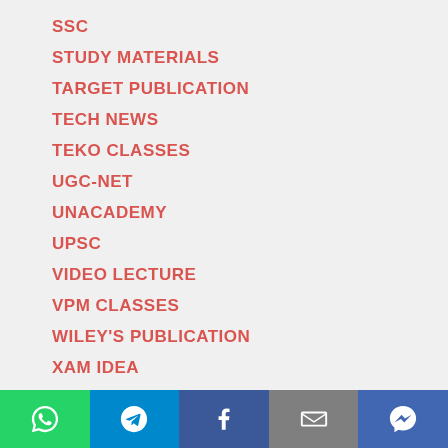SSC
STUDY MATERIALS
TARGET PUBLICATION
TECH NEWS
TEKO CLASSES
UGC-NET
UNACADEMY
UPSC
VIDEO LECTURE
VPM CLASSES
WILEY'S PUBLICATION
XAM IDEA
ZOOLOGY
WhatsApp | Telegram | Facebook | Email | Messenger